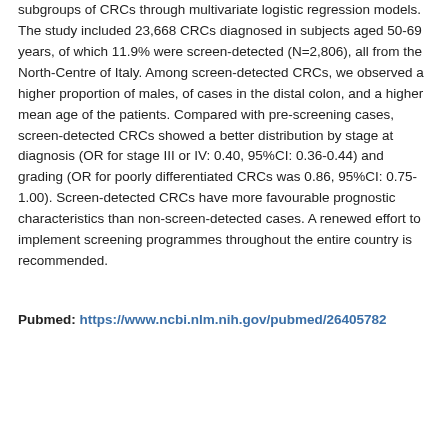subgroups of CRCs through multivariate logistic regression models. The study included 23,668 CRCs diagnosed in subjects aged 50-69 years, of which 11.9% were screen-detected (N=2,806), all from the North-Centre of Italy. Among screen-detected CRCs, we observed a higher proportion of males, of cases in the distal colon, and a higher mean age of the patients. Compared with pre-screening cases, screen-detected CRCs showed a better distribution by stage at diagnosis (OR for stage III or IV: 0.40, 95%CI: 0.36-0.44) and grading (OR for poorly differentiated CRCs was 0.86, 95%CI: 0.75-1.00). Screen-detected CRCs have more favourable prognostic characteristics than non-screen-detected cases. A renewed effort to implement screening programmes throughout the entire country is recommended.
Pubmed: https://www.ncbi.nlm.nih.gov/pubmed/26405782